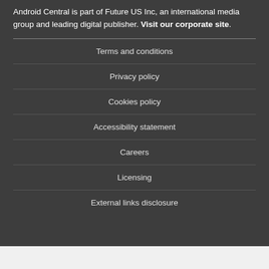Android Central is part of Future US Inc, an international media group and leading digital publisher. Visit our corporate site.
Terms and conditions
Privacy policy
Cookies policy
Accessibility statement
Careers
Licensing
External links disclosure